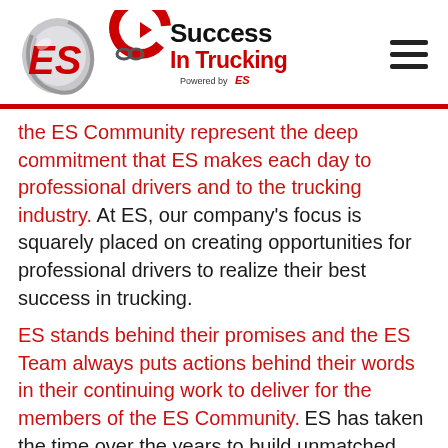[Figure (logo): ES logo (silver swirl with red ES letters) and Success In Trucking logo (red arrow with chain, black and red text 'Success In Trucking', 'Powered by ES')]
the ES Community represent the deep commitment that ES makes each day to professional drivers and to the trucking industry. At ES, our company's focus is squarely placed on creating opportunities for professional drivers to realize their best success in trucking.

ES stands behind their promises and the ES Team always puts actions behind their words in their continuing work to deliver for the members of the ES Community. ES has taken the time over the years to build unmatched support systems